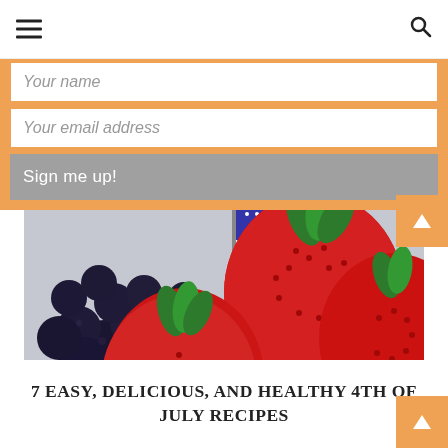Navigation bar with hamburger menu and search icon
Your name
Your email address
Sign me up!
[Figure (photo): Bowl of fresh strawberries and blueberries with a small American flag in the background, close-up shot on a light background]
7 EASY, DELICIOUS, AND HEALTHY 4TH OF JULY RECIPES